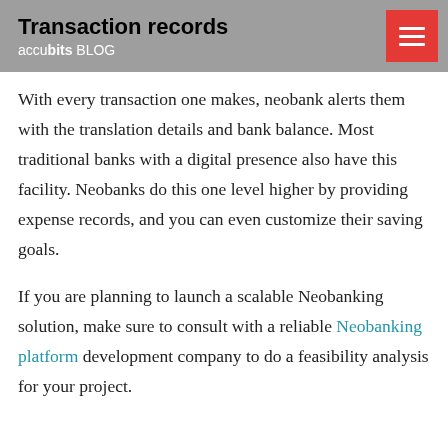Transaction records
accubits BLOG
With every transaction one makes, neobank alerts them with the translation details and bank balance. Most traditional banks with a digital presence also have this facility. Neobanks do this one level higher by providing expense records, and you can even customize their saving goals.
If you are planning to launch a scalable Neobanking solution, make sure to consult with a reliable Neobanking platform development company to do a feasibility analysis for your project.